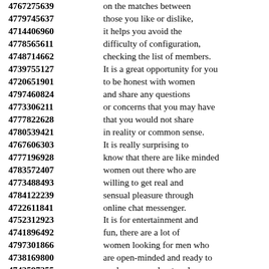4767275639 on the matches between
4779745637 those you like or dislike,
4714406960 it helps you avoid the
4778565611 difficulty of configuration,
4748714662 checking the list of members.
4739755127 It is a great opportunity for you
4720651901 to be honest with women
4797460824 and share any questions
4773306211 or concerns that you may have
4777822628 that you would not share
4780539421 in reality or common sense.
4767606303 It is really surprising to
4777196928 know that there are like minded
4783572407 women out there who are
4773488493 willing to get real and
4784122239 sensual pleasure through
4722611841 online chat messenger.
4752312923 It is for entertainment and
4741896492 fun, there are a lot of
4797301866 women looking for men who
4738169800 are open-minded and ready to
4742597255 explore more about real
4742620475 personal relationships online.
4778499338 You can access hundreds of
4738742667 of women seeking men,
4733961679 ...